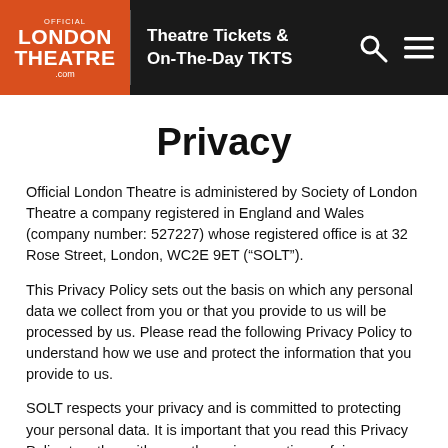Theatre Tickets & On-The-Day TKTS
Privacy
Official London Theatre is administered by Society of London Theatre a company registered in England and Wales (company number: 527227) whose registered office is at 32 Rose Street, London, WC2E 9ET (“SOLT”).
This Privacy Policy sets out the basis on which any personal data we collect from you or that you provide to us will be processed by us. Please read the following Privacy Policy to understand how we use and protect the information that you provide to us.
SOLT respects your privacy and is committed to protecting your personal data. It is important that you read this Privacy Policy together with any other privacy notice or fair processing notice we may provide on specific occasions when we are collecting or